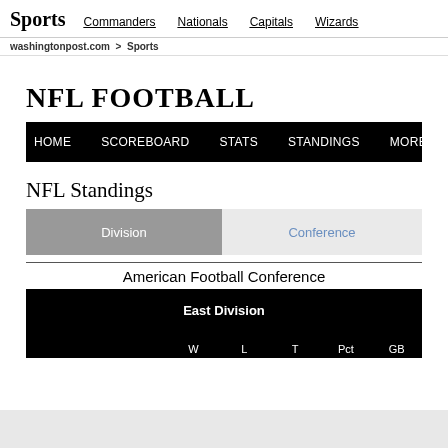Sports   Commanders   Nationals   Capitals   Wizards
washingtonpost.com > Sports
NFL FOOTBALL
HOME   SCOREBOARD   STATS   STANDINGS   MORE...
NFL Standings
Division   Conference
American Football Conference
|  | W | L | T | Pct | GB |
| --- | --- | --- | --- | --- | --- |